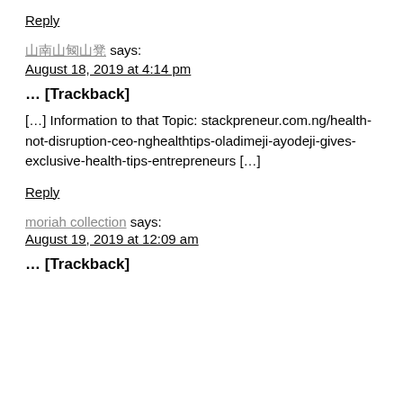Reply
?????? says:
August 18, 2019 at 4:14 pm
… [Trackback]
[…] Information to that Topic: stackpreneur.com.ng/health-not-disruption-ceo-nghealthtips-oladimeji-ayodeji-gives-exclusive-health-tips-entrepreneurs […]
Reply
moriah collection says:
August 19, 2019 at 12:09 am
… [Trackback]